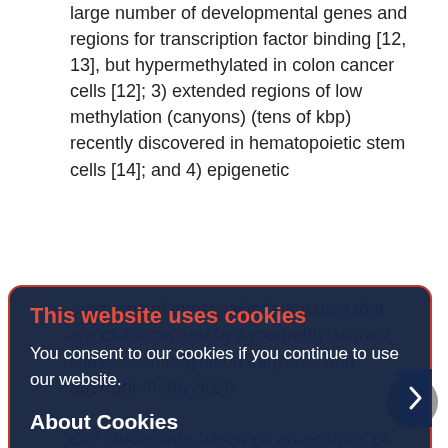large number of developmental genes and regions for transcription factor binding [12, 13], but hypermethylated in colon cancer cells [12]; 3) extended regions of low methylation (canyons) (tens of kbp) recently discovered in hematopoietic stem cells [14]; and 4) epigenetic programs of intestinal inflammation that are characterized by hypomethylation of DMV, low methylation canyons, and aberrant methylation.
Our studies are based on an analysis of the methylation level of genome regions, the length varies from several kbp to several million base pairs. Epigenetic analysis of ancient DNA, based on a search for C-T-substitution-rich regions, raises the possibility of assessing the adaptation signals and/or markers of diseases. However, this requires well-preserved tissues (brain, intestine, muscle, blood), which is common for remains found in permafrost, such
This website uses cookies
You consent to our cookies if you continue to use our website.
About Cookies
OK